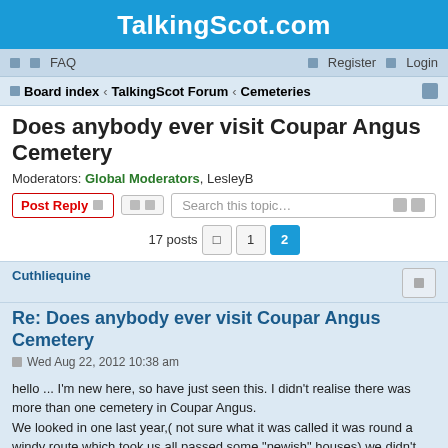TalkingScot.com
FAQ   Register   Login
Board index › TalkingScot Forum › Cemeteries
Does anybody ever visit Coupar Angus Cemetery
Moderators: Global Moderators, LesleyB
Post Reply   Search this topic…
17 posts  1  2
Cuthliequine
Re: Does anybody ever visit Coupar Angus Cemetery
Wed Aug 22, 2012 10:38 am
hello ... I'm new here, so have just seen this. I didn't realise there was more than one cemetery in Coupar Angus.
We looked in one last year,( not sure what it was called it was round a windy route which took us all passed some "newish" houses) we didn't find who we were looking for ..... 🙁